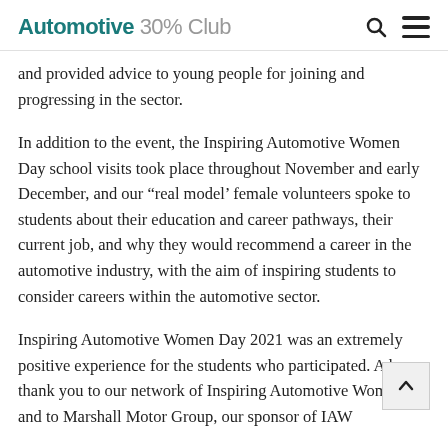Automotive 30% Club
and provided advice to young people for joining and progressing in the sector.
In addition to the event, the Inspiring Automotive Women Day school visits took place throughout November and early December, and our “real model’ female volunteers spoke to students about their education and career pathways, their current job, and why they would recommend a career in the automotive industry, with the aim of inspiring students to consider careers within the automotive sector.
Inspiring Automotive Women Day 2021 was an extremely positive experience for the students who participated. A huge thank you to our network of Inspiring Automotive Women, and to Marshall Motor Group, our sponsor of IAW